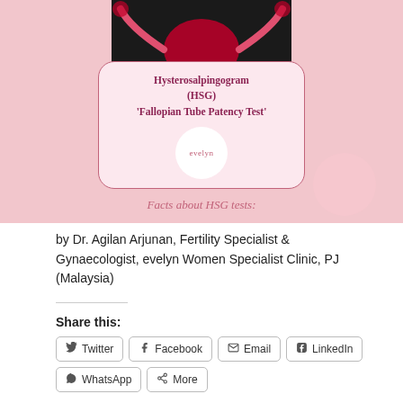[Figure (illustration): Pink background infographic banner showing a uterus/fallopian tube illustration at top on black background, with a rounded card overlay containing title text 'Hysterosalpingogram (HSG) Fallopian Tube Patency Test' and an 'evelyn' logo circle, plus 'Facts about HSG tests:' text at the bottom.]
by Dr. Agilan Arjunan, Fertility Specialist & Gynaecologist, evelyn Women Specialist Clinic, PJ (Malaysia)
Share this:
Twitter
Facebook
Email
LinkedIn
WhatsApp
More